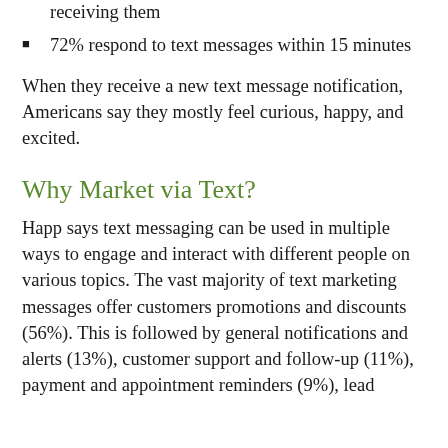75% read text messages within 15 minutes of receiving them
72% respond to text messages within 15 minutes
When they receive a new text message notification, Americans say they mostly feel curious, happy, and excited.
Why Market via Text?
Happ says text messaging can be used in multiple ways to engage and interact with different people on various topics. The vast majority of text marketing messages offer customers promotions and discounts (56%). This is followed by general notifications and alerts (13%), customer support and follow-up (11%), payment and appointment reminders (9%), lead